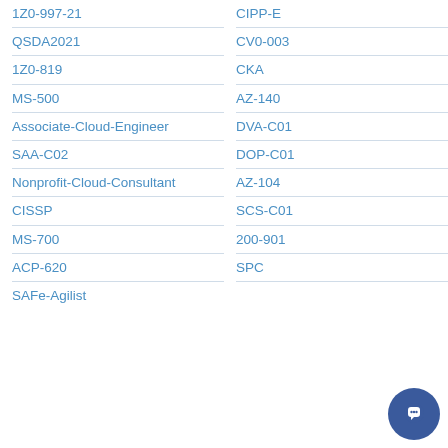1Z0-997-21
QSDA2021
1Z0-819
MS-500
Associate-Cloud-Engineer
SAA-C02
Nonprofit-Cloud-Consultant
CISSP
MS-700
ACP-620
SAFe-Agilist
CIPP-E
CV0-003
CKA
AZ-140
DVA-C01
DOP-C01
AZ-104
SCS-C01
200-901
SPC